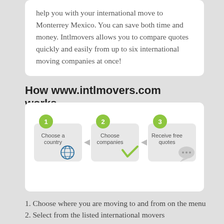help you with your international move to Monterrey Mexico. You can save both time and money. Intlmovers allows you to compare quotes quickly and easily from up to six international moving companies at once!
How www.intlmovers.com works
[Figure (infographic): Three-step process infographic: Step 1 - Choose a country (globe icon), Step 2 - Choose companies (checkmark icon), Step 3 - Receive free quotes (speech bubble icon). Steps connected with arrows, numbered with green circle badges.]
1. Choose where you are moving to and from on the menu
2. Select from the listed international movers
3. Complete the simple online quotation request form